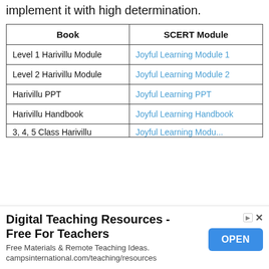implement it with high determination.
| Book | SCERT Module |
| --- | --- |
| Level 1 Harivillu Module | Joyful Learning Module 1 |
| Level 2 Harivillu Module | Joyful Learning Module 2 |
| Harivillu PPT | Joyful Learning PPT |
| Harivillu Handbook | Joyful Learning Handbook |
| 3, 4, 5 Class Harivillu... | Joyful Learning Module... |
[Figure (screenshot): Advertisement banner: Digital Teaching Resources - Free For Teachers. Free Materials & Remote Teaching Ideas. campsinternational.com/teaching/resources. OPEN button.]